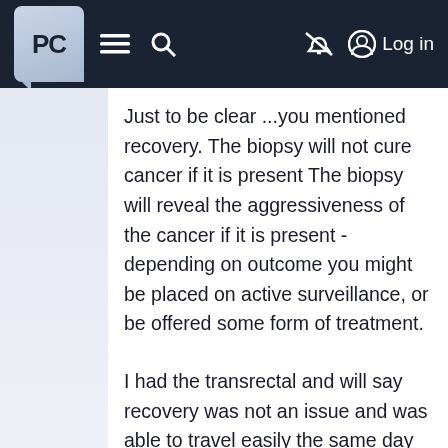PC [logo] ≡ 🔍 [no-bell] [account] Log in
Just to be clear ...you mentioned recovery. The biopsy will not cure cancer if it is present The biopsy will reveal the aggressiveness of the cancer if it is present - depending on outcome you might be placed on active surveillance, or be offered some form of treatment.
I had the transrectal and will say recovery was not an issue and was able to travel easily the same day Good luck